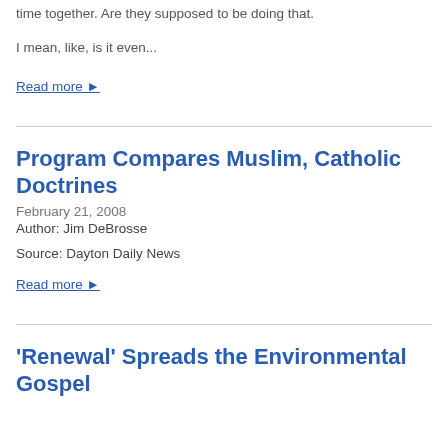time together. Are they supposed to be doing that.
I mean, like, is it even...
Read more ▶
Program Compares Muslim, Catholic Doctrines
February 21, 2008
Author: Jim DeBrosse
Source: Dayton Daily News
Read more ▶
'Renewal' Spreads the Environmental Gospel